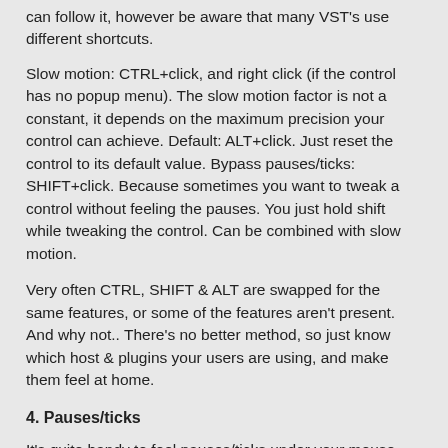can follow it, however be aware that many VST's use different shortcuts.
Slow motion: CTRL+click, and right click (if the control has no popup menu). The slow motion factor is not a constant, it depends on the maximum precision your control can achieve. Default: ALT+click. Just reset the control to its default value. Bypass pauses/ticks: SHIFT+click. Because sometimes you want to tweak a control without feeling the pauses. You just hold shift while tweaking the control. Can be combined with slow motion.
Very often CTRL, SHIFT & ALT are swapped for the same features, or some of the features aren't present. And why not.. There's no better method, so just know which host & plugins your users are using, and make them feel at home.
4. Pauses/ticks
It's quite handy to feel pauses/ticks under your mouse cursor, to quickly snap to key value(s) (often that value is the default position, but it can be anything, like steps for a delay time selector, etc). It's not really a snap (it would suck), but a short pause, a larger part of the mouse motion spent on key values...